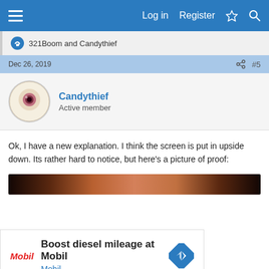Log in  Register
321Boom and Candythief
Dec 26, 2019  #5
Candythief
Active member
Ok, I have a new explanation. I think the screen is put in upside down. Its rather hard to notice, but here's a picture of proof:
[Figure (photo): A close-up image strip showing skin/screen detail, dark tones on edges fading to pinkish center]
[Figure (other): Advertisement: Boost diesel mileage at Mobil, with Mobil logo and blue diamond arrow icon]